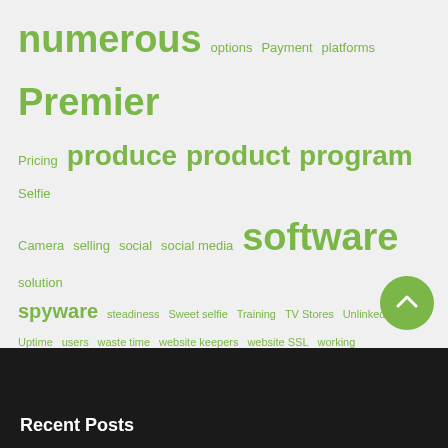numerous options Payment platforms Premier Pricing produce product program Selfie Camera selling social social media software solution spyware steadiness Sweet selfie Training TV Stores Unlinked Uptime users waste time website keepers website SSL working
Follow Us
[Figure (infographic): Social media icons: Facebook (blue), Twitter (light blue), LinkedIn (grey), Pinterest (red)]
Recent Posts